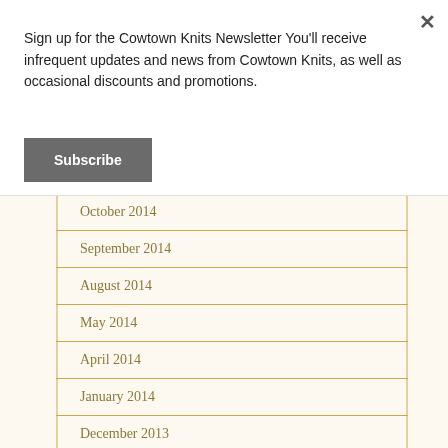Sign up for the Cowtown Knits Newsletter You'll receive infrequent updates and news from Cowtown Knits, as well as occasional discounts and promotions.
Subscribe
October 2014
September 2014
August 2014
May 2014
April 2014
January 2014
December 2013